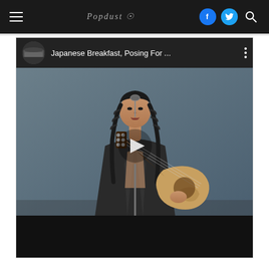Navigation bar with hamburger menu, site logo, Facebook icon, Twitter icon, and search icon
[Figure (screenshot): YouTube-style video player showing Japanese Breakfast performing live. The video thumbnail shows a woman with braided hair playing guitar and singing into a microphone on stage. The video title bar reads 'Japanese Breakfast, Posing For ...' with a channel thumbnail and a three-dot menu icon. A play button is centered on the image. The bottom of the player shows a dark control bar.]